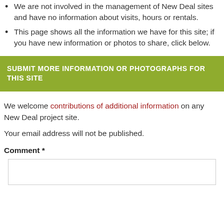We are not involved in the management of New Deal sites and have no information about visits, hours or rentals.
This page shows all the information we have for this site; if you have new information or photos to share, click below.
SUBMIT MORE INFORMATION OR PHOTOGRAPHS FOR THIS SITE
We welcome contributions of additional information on any New Deal project site.
Your email address will not be published.
Comment *